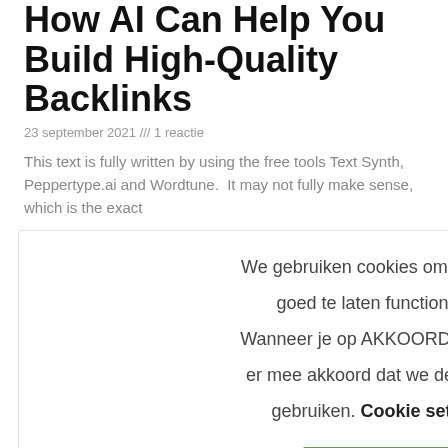How AI Can Help You Build High-Quality Backlinks
23 september 2021 /// 1 reactie
This text is fully written by using the free tools Text Synth, Peppertype.ai and Wordtune. It may not fully make sense, which is the exact
Read Article
We gebruiken cookies om onze site goed te laten functioneren. Wanneer je op AKKOORD klik ga je er mee akkoord dat we de cookies gebruiken. Cookie settings
Akkoord
[Figure (photo): Close-up photo of a finger pointing at text on a printed page or map, showing colorful letters/text.]
Local SEO for local business